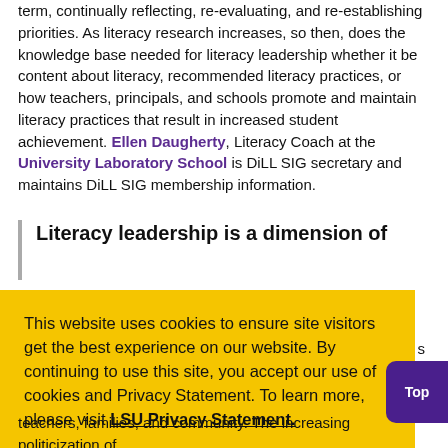term, continually reflecting, re-evaluating, and re-establishing priorities. As literacy research increases, so then, does the knowledge base needed for literacy leadership whether it be content about literacy, recommended literacy practices, or how teachers, principals, and schools promote and maintain literacy practices that result in increased student achievement. Ellen Daugherty, Literacy Coach at the University Laboratory School is DiLL SIG secretary and maintains DiLL SIG membership information.
Literacy leadership is a dimension of
This website uses cookies to ensure site visitors get the best experience on our website. By continuing to use this site, you accept our use of cookies and Privacy Statement. To learn more, please visit LSU Privacy Statement.
I agree.
teachers, families, and community. The increasing politicization of